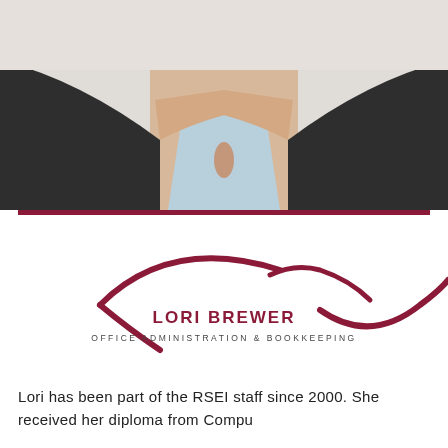[Figure (photo): Professional headshot/torso photo of Lori Brewer, a woman wearing a dark charcoal cardigan over a light blue top, white background]
[Figure (logo): Decorative wave/swoosh logo in dark red/maroon color, resembling stylized eyebrow curves forming a wave shape, positioned below the photo with the name LORI BREWER and title OFFICE ADMINISTRATION & BOOKKEEPING]
LORI BREWER
OFFICE ADMINISTRATION & BOOKKEEPING
Lori has been part of the RSEI staff since 2000. She received her diploma from Compu